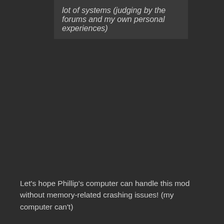lot of systems (judging by the forums and my own personal experiences)
Let's hope Phillip's computer can handle this mod without memory-related crashing issues! (my computer can't)
PlanetPhillip
17th March 2012 at 11:08 pm
After hearing about the save system I have no desire to play it, although I will try it, but if I have any trouble with it, I won't even waste my time. Playing